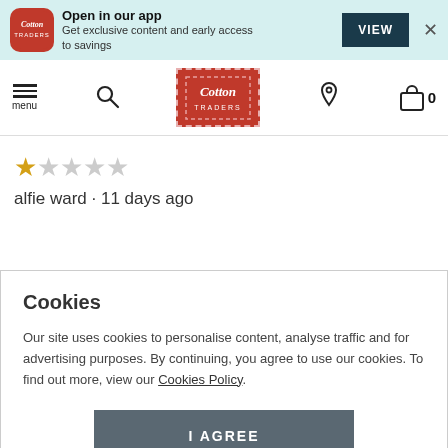[Figure (screenshot): App banner with Cotton Traders logo, 'Open in our app' text, VIEW button, and close X]
[Figure (screenshot): Cotton Traders website navigation bar with menu, search, logo, location, and bag icons]
★☆☆☆☆
alfie ward · 11 days ago
Cookies
Our site uses cookies to personalise content, analyse traffic and for advertising purposes. By continuing, you agree to use our cookies. To find out more, view our Cookies Policy.
I AGREE